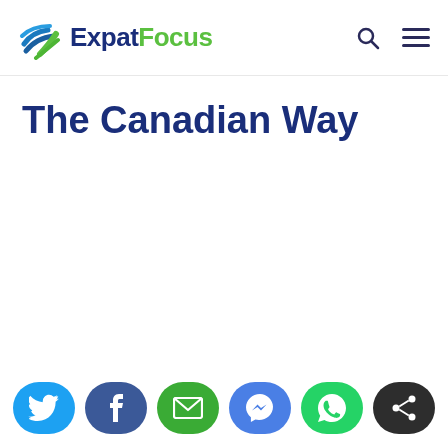ExpatFocus
The Canadian Way
[Figure (infographic): Social sharing buttons row: Twitter (light blue), Facebook (dark blue), Email (green), Messenger (blue), WhatsApp (bright green), Share (dark/black)]